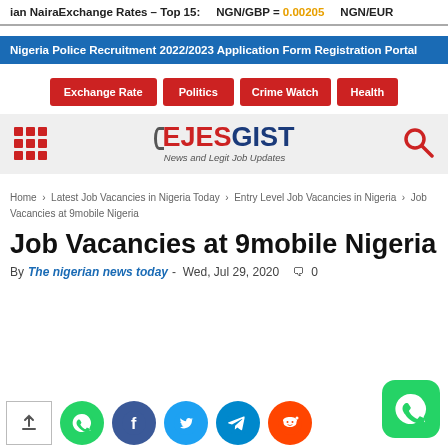ian NairaExchange Rates - Top 15:   NGN/GBP = 0.00205   NGN/EUR
Nigeria Police Recruitment 2022/2023 Application Form Registration Portal
Exchange Rate
Politics
Crime Watch
Health
[Figure (logo): EJESGIST logo — News and Legit Job Updates]
Home › Latest Job Vacancies in Nigeria Today › Entry Level Job Vacancies in Nigeria › Job Vacancies at 9mobile Nigeria
Job Vacancies at 9mobile Nigeria
By The nigerian news today - Wed, Jul 29, 2020  🗨 0